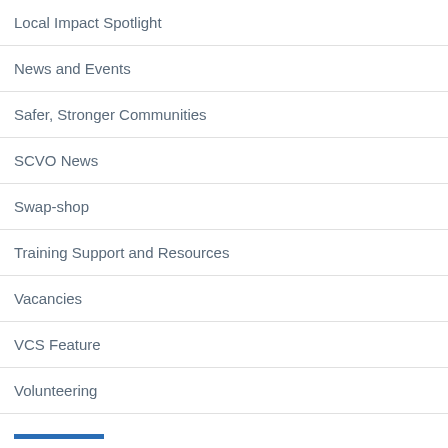Local Impact Spotlight
News and Events
Safer, Stronger Communities
SCVO News
Swap-shop
Training Support and Resources
Vacancies
VCS Feature
Volunteering
Archives